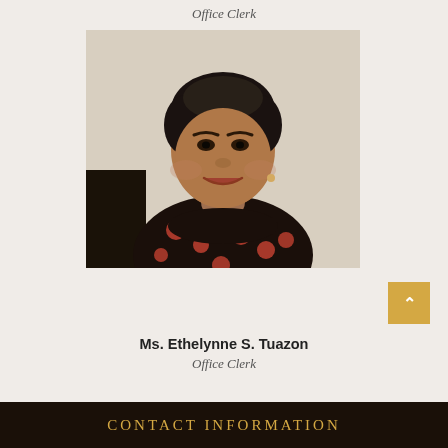Office Clerk
[Figure (photo): Portrait photo of Ms. Ethelynne S. Tuazon, a woman with short dark hair wearing a black dress with red floral pattern, smiling at the camera]
Ms. Ethelynne S. Tuazon
Office Clerk
CONTACT INFORMATION